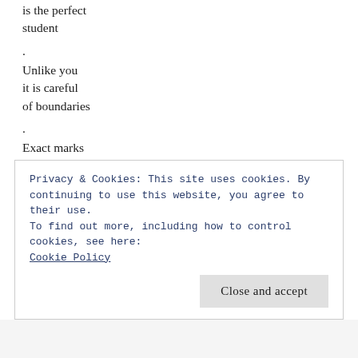is the perfect
student
.
Unlike you
it is careful
of boundaries
.
Exact marks
entered
in the margins
.
It sees you
eyes
calm and clear
Privacy & Cookies: This site uses cookies. By continuing to use this website, you agree to their use.
To find out more, including how to control cookies, see here:
Cookie Policy
Close and accept